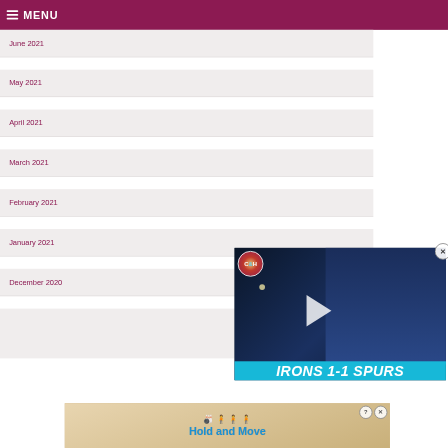MENU
June 2021
May 2021
April 2021
March 2021
February 2021
January 2021
December 2020
[Figure (screenshot): Video popup thumbnail showing a bald man with C&H (Claret and Hugh) logo, play button, and text 'IRONS 1-1 SPURS' with a close X circle button]
[Figure (screenshot): Advertisement banner showing bowling pin figures and text 'Hold and Move' with question mark and close X buttons]